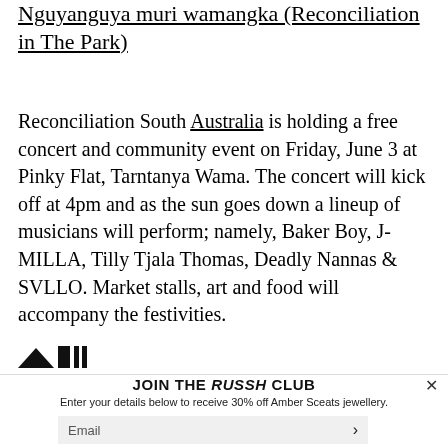Nguyanguya muri wamangka (Reconciliation in The Park)
Reconciliation South Australia is holding a free concert and community event on Friday, June 3 at Pinky Flat, Tarntanya Wama. The concert will kick off at 4pm and as the sun goes down a lineup of musicians will perform; namely, Baker Boy, J-MILLA, Tilly Tjala Thomas, Deadly Nannas & SVLLO. Market stalls, art and food will accompany the festivities.
[Figure (other): Partial image/logo partially visible at bottom left, cropped]
JOIN THE RUSSH CLUB
Enter your details below to receive 30% off Amber Sceats jewellery.
Email